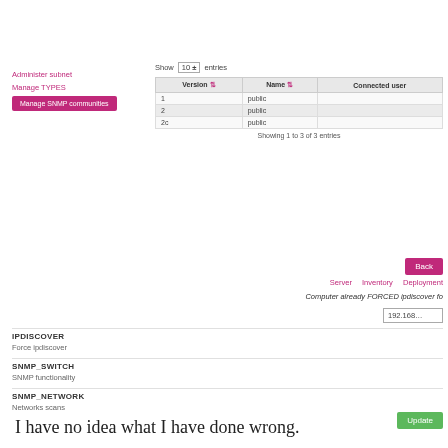Administer subnet
Manage TYPES
Manage SNMP communities
Show 10 entries
| Version | Name | Connected user |
| --- | --- | --- |
| 1 | public |  |
| 2 | public |  |
| 2c | public |  |
Showing 1 to 3 of 3 entries
Back
Server   Inventory   Deployment
Computer already FORCED ipdiscover fo
192.168...
IPDISCOVER
Force ipdiscover
SNMP_SWITCH
SNMP functionality
SNMP_NETWORK
Networks scans
Update
I have no idea what I have done wrong.